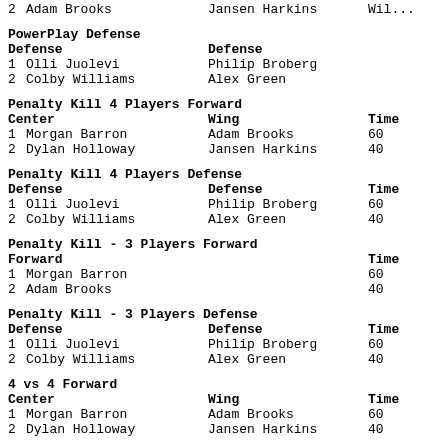2  Adam Brooks                    Jansen Harkins               Wil...
PowerPlay Defense
Defense    Defense
1 Olli Juolevi    Philip Broberg
2 Colby Williams    Alex Green
Penalty Kill 4 Players Forward
Center    Wing    Time
1 Morgan Barron    Adam Brooks    60
2 Dylan Holloway    Jansen Harkins    40
Penalty Kill 4 Players Defense
Defense    Defense    Time
1 Olli Juolevi    Philip Broberg    60
2 Colby Williams    Alex Green    40
Penalty Kill - 3 Players Forward
Forward    Time
1 Morgan Barron    60
2 Adam Brooks    40
Penalty Kill - 3 Players Defense
Defense    Defense    Time
1 Olli Juolevi    Philip Broberg    60
2 Colby Williams    Alex Green    40
4 vs 4 Forward
Center    Wing    Time
1 Morgan Barron    Adam Brooks    60
2 Dylan Holloway    Jansen Harkins    40